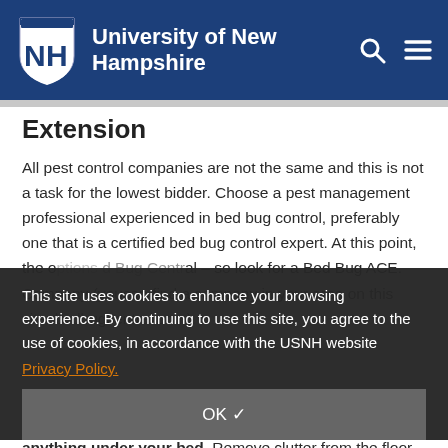University of New Hampshire
Extension
All pest control companies are not the same and this is not a task for the lowest bidder. Choose a pest management professional experienced in bed bug control, preferably one that is a certified bed bug control expert. At this point, the o... ed Bug Central – so look for a Bed Bug ACE. Company (youcan find a company in your area on this site: bedbugcentral.com).
This site uses cookies to enhance your browsing experience. By continuing to use this site, you agree to the use of cookies, in accordance with the USNH website Privacy Policy.
You can, however, improve the chances of prompt control, ea... the area around your bed. Don't store anything under your bed. Remove clutter from the floor. Check your bed carefully (and